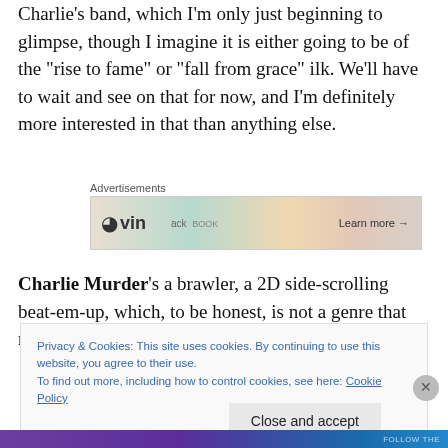Charlie’s band, which I’m only just beginning to glimpse, though I imagine it is either going to be of the “rise to fame” or “fall from grace” ilk. We’ll have to wait and see on that for now, and I’m definitely more interested in that than anything else.
[Figure (screenshot): Advertisement banner showing WordPress icon, 'vin' text, and 'Learn more →' button on a colorful background]
Charlie Murder’s a brawler, a 2D side-scrolling beat-em-up, which, to be honest, is not a genre that really excites.
Privacy & Cookies: This site uses cookies. By continuing to use this website, you agree to their use.
To find out more, including how to control cookies, see here: Cookie Policy
Close and accept